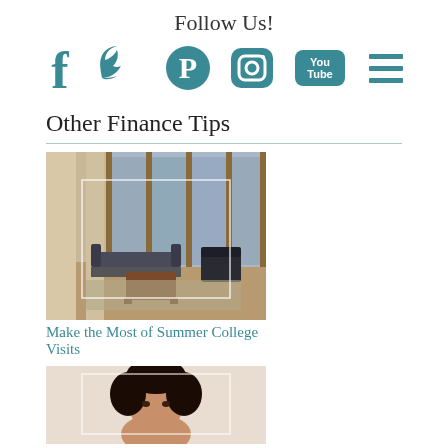Follow Us!
[Figure (infographic): Social media icons row: Facebook, Twitter, Pinterest, Instagram, YouTube, Menu (hamburger) — all in teal color]
Other Finance Tips
[Figure (photo): Photo of a modern hotel/apartment lobby with large windows, sofas, and coffee table]
Make the Most of Summer College Visits
[Figure (photo): Photo of a woman with curly hair looking down, partially visible]